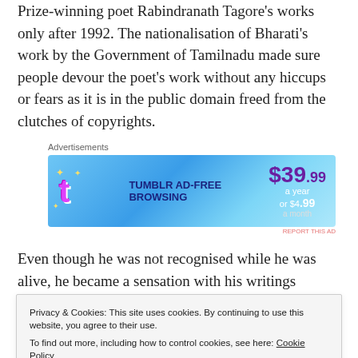Prize-winning poet Rabindranath Tagore's works only after 1992. The nationalisation of Bharati's work by the Government of Tamilnadu made sure people devour the poet's work without any hiccups or fears as it is in the public domain freed from the clutches of copyrights.
[Figure (screenshot): Tumblr Ad-Free Browsing advertisement banner. $39.99 a year or $4.99 a month.]
Even though he was not recognised while he was alive, he became a sensation with his writings
Privacy & Cookies: This site uses cookies. By continuing to use this website, you agree to their use.
To find out more, including how to control cookies, see here: Cookie Policy
Close and accept